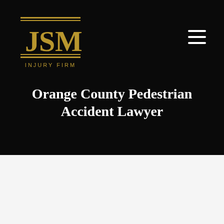[Figure (logo): JSM Injury Firm logo — gold decorative columns and serif lettering on black background]
Orange County Pedestrian Accident Lawyer